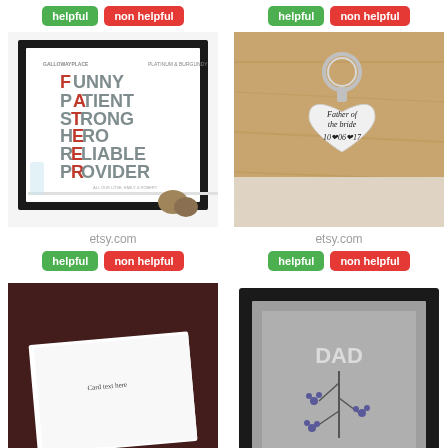[Figure (photo): FATHER acrostic print: Funny, Patient, Strong, Hero, Reliable, Provider - framed art print from Galloway Place, Platinum & Burgundy colorway, on a white shelf with a glass vase and pine cones]
etsy.com
[Figure (photo): Silver heart-shaped keychain engraved 'Father of the bride 10-06-17' with small bride illustration, on a wooden surface]
etsy.com
[Figure (photo): White greeting card on dark background (bottom left, partially cut off)]
[Figure (photo): Framed art print with DAD text and floral/botanical design on grey background (bottom right, partially cut off)]